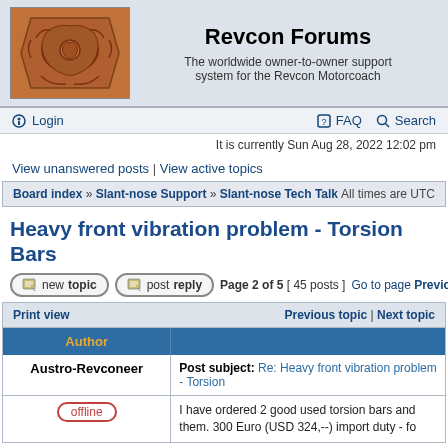[Figure (logo): Revcon Forums carved wooden logo/emblem with decorative scroll work]
Revcon Forums
The worldwide owner-to-owner support system for the Revcon Motorcoach
Login
FAQ    Search
It is currently Sun Aug 28, 2022 12:02 pm
View unanswered posts | View active topics
Board index » Slant-nose Support » Slant-nose Tech Talk    All times are UTC
Heavy front vibration problem - Torsion Bars
new topic    post reply    Page 2 of 5  [ 45 posts ]   Go to page Previous
| Author |  |
| --- | --- |
| Print view | Previous topic | Next topic |
| Austro-Revconeer | Post subject: Re: Heavy front vibration problem - Torsion |
| offline | I have ordered 2 good used torsion bars and them. 300 Euro (USD 324,--) import duty - fo |